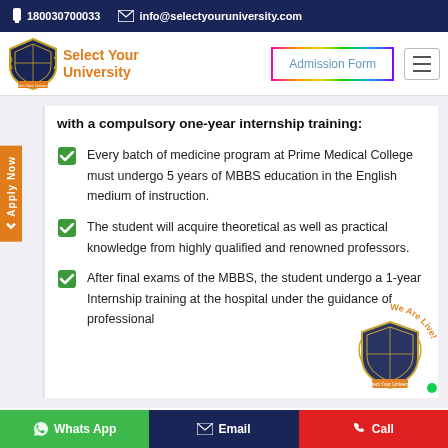180030700033   info@selectyouruniversity.com
[Figure (logo): Select Your University logo with shield emblem and orange text]
Admission Form
with a compulsory one-year internship training:
Every batch of medicine program at Prime Medical College must undergo 5 years of MBBS education in the English medium of instruction.
The student will acquire theoretical as well as practical knowledge from highly qualified and renowned professors.
After final exams of the MBBS, the student undergo a 1-year Internship training at the hospital under the guidance of professional
[Figure (logo): We Are Live watermark logo overlay with shield emblem]
Whats App   Email   Call